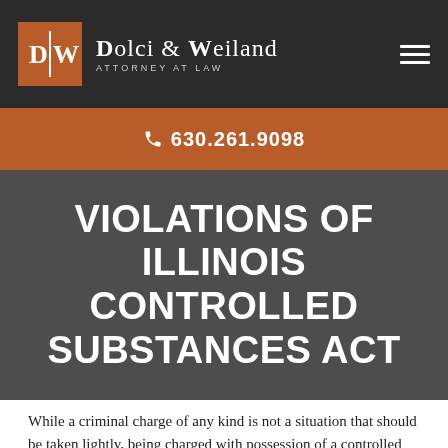Dolci & Weiland Attorney at Law
📞 630.261.9098
VIOLATIONS OF ILLINOIS CONTROLLED SUBSTANCES ACT
While a criminal charge of any kind is not a situation that should be taken lightly, being charged with possession of a controlled substance can bring your